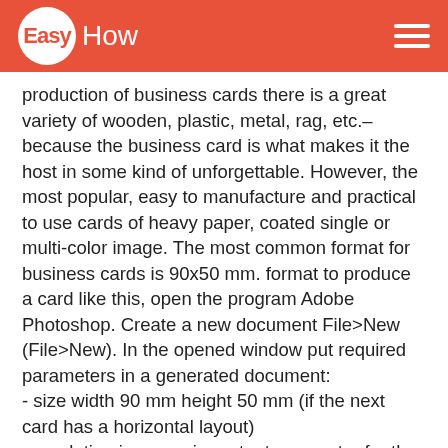EasyHow
production of business cards there is a great variety of wooden, plastic, metal, rag, etc.– because the business card is what makes it the host in some kind of unforgettable. However, the most popular, easy to manufacture and practical to use cards of heavy paper, coated single or multi-color image. The most common format for business cards is 90x50 mm. format to produce a card like this, open the program Adobe Photoshop. Create a new document File>New (File>New). In the opened window put required parameters in a generated document:
- size width 90 mm height 50 mm (if the next card has a horizontal layout)
- resolution is a very important parameter for the future printing of the incarnation should be a minimum of 300 dots per inch.